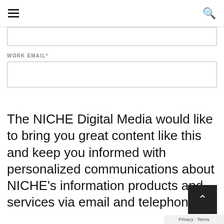[hamburger menu icon] [search icon]
WORK EMAIL*
[Figure (screenshot): A blank form input field for first name/last name at top, and a blank form input field for work email]
The NICHE Digital Media would like to bring you great content like this and keep you informed with personalized communications about NICHE's information products and services via email and telephone.
By submitting this form, you agree to receive these communications at the email address and
Privacy · Terms